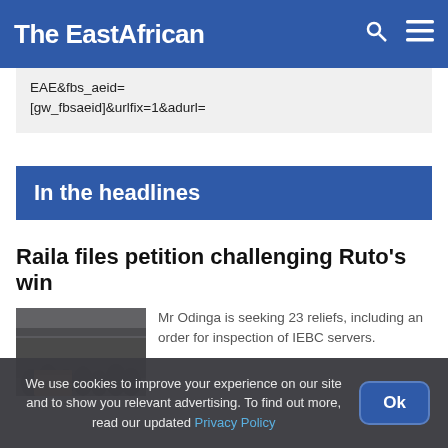The EastAfrican
EAE&fbs_aeid=[gw_fbsaeid]&urlfix=1&adurl=
In the headlines
Raila files petition challenging Ruto's win
[Figure (photo): Crowd of people, likely at a political event, with boxes visible in the foreground]
Mr Odinga is seeking 23 reliefs, including an order for inspection of IEBC servers.
We use cookies to improve your experience on our site and to show you relevant advertising. To find out more, read our updated Privacy Policy